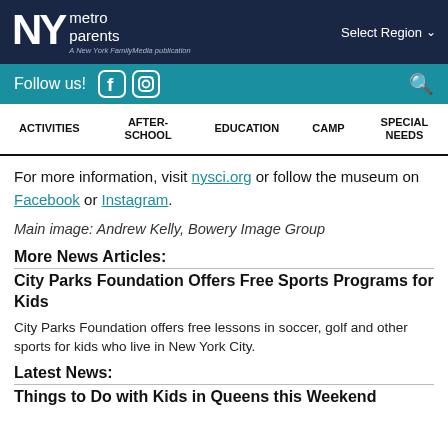NY metro parents — A New York FamilyMedia publication | Select Region
Follow us! [Facebook] [Instagram] [Search]
ACTIVITIES | AFTER-SCHOOL | EDUCATION | CAMP | SPECIAL NEEDS
For more information, visit nysci.org or follow the museum on Facebook or Instagram.
Main image: Andrew Kelly, Bowery Image Group
More News Articles:
City Parks Foundation Offers Free Sports Programs for Kids
City Parks Foundation offers free lessons in soccer, golf and other sports for kids who live in New York City.
Latest News:
Things to Do with Kids in Queens this Weekend